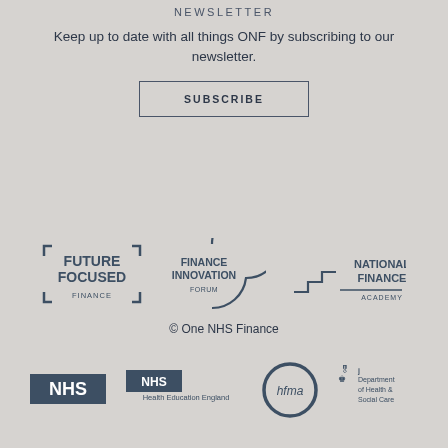NEWSLETTER
Keep up to date with all things ONF by subscribing to our newsletter.
SUBSCRIBE
[Figure (logo): Future Focused Finance logo with bracket corners]
[Figure (logo): Finance Innovation Forum logo with circular arc]
[Figure (logo): National Finance Academy logo with staircase graphic]
© One NHS Finance
[Figure (logo): NHS logo block]
[Figure (logo): NHS Health Education England logo]
[Figure (logo): hfma circular logo]
[Figure (logo): Department of Health & Social Care logo with portcullis]